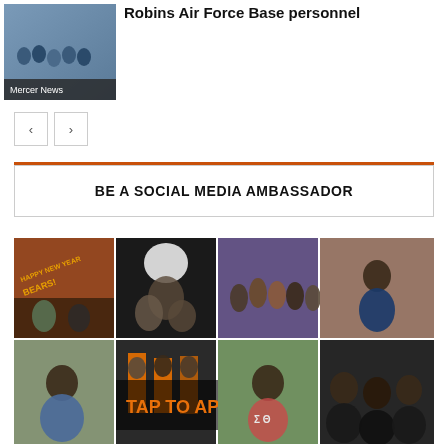[Figure (photo): News thumbnail showing group of people, with 'Mercer News' badge overlay]
Robins Air Force Base personnel
[Figure (other): Navigation arrows (previous/next) for news carousel]
BE A SOCIAL MEDIA AMBASSADOR
[Figure (photo): Photo collage of Mercer University students in various campus scenes with 'TAP TO APPLY' overlay text]